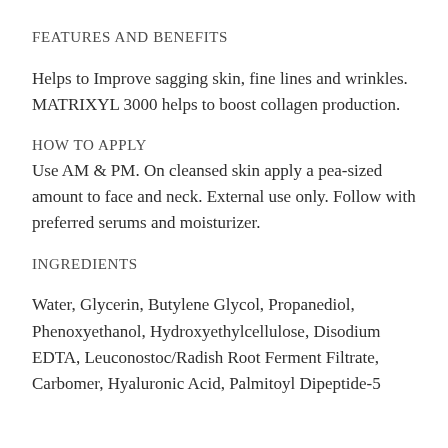FEATURES AND BENEFITS
Helps to Improve sagging skin, fine lines and wrinkles. MATRIXYL 3000 helps to boost collagen production.
HOW TO APPLY
Use AM & PM. On cleansed skin apply a pea-sized amount to face and neck. External use only. Follow with preferred serums and moisturizer.
INGREDIENTS
Water, Glycerin, Butylene Glycol, Propanediol, Phenoxyethanol, Hydroxyethylcellulose, Disodium EDTA, Leuconostoc/Radish Root Ferment Filtrate, Carbomer, Hyaluronic Acid, Palmitoyl Dipeptide-5